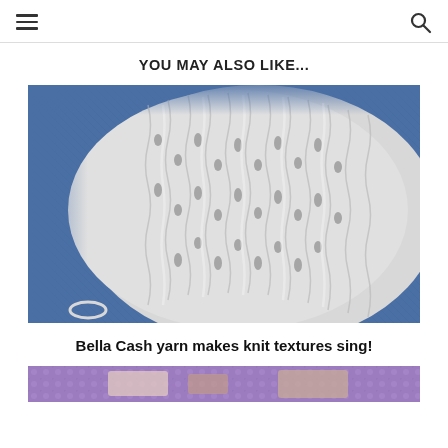Navigation header with hamburger menu and search icon
YOU MAY ALSO LIKE...
[Figure (photo): Close-up photo of white knitted fabric with lace-like texture on a blue denim background]
Bella Cash yarn makes knit textures sing!
[Figure (photo): Bottom partial image of another knitting-related photo]